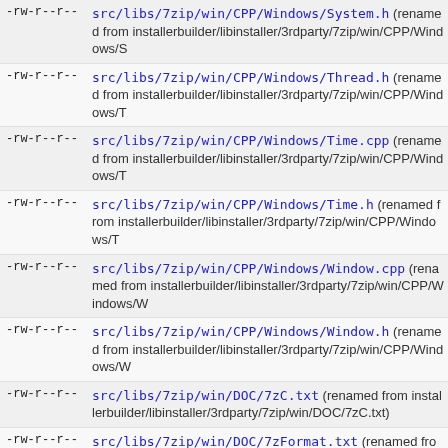-rw-r--r-- src/libs/7zip/win/CPP/Windows/System.h (renamed from installerbuilder/libinstaller/3rdparty/7zip/win/CPP/Windows/S
-rw-r--r-- src/libs/7zip/win/CPP/Windows/Thread.h (renamed from installerbuilder/libinstaller/3rdparty/7zip/win/CPP/Windows/T
-rw-r--r-- src/libs/7zip/win/CPP/Windows/Time.cpp (renamed from installerbuilder/libinstaller/3rdparty/7zip/win/CPP/Windows/T
-rw-r--r-- src/libs/7zip/win/CPP/Windows/Time.h (renamed from installerbuilder/libinstaller/3rdparty/7zip/win/CPP/Windows/T
-rw-r--r-- src/libs/7zip/win/CPP/Windows/Window.cpp (renamed from installerbuilder/libinstaller/3rdparty/7zip/win/CPP/Windows/W
-rw-r--r-- src/libs/7zip/win/CPP/Windows/Window.h (renamed from installerbuilder/libinstaller/3rdparty/7zip/win/CPP/Windows/W
-rw-r--r-- src/libs/7zip/win/DOC/7zC.txt (renamed from installerbuilder/libinstaller/3rdparty/7zip/win/DOC/7zC.txt)
-rw-r--r-- src/libs/7zip/win/DOC/7zFormat.txt (renamed from installerbuilder/libinstaller/3rdparty/7zip/win/DOC/7zFormat.t
-rw-r--r-- src/libs/7zip/win/DOC/License.txt (renamed from installerbuilder/libinstaller/3rdparty/7zip/win/DOC/License.txt
-rw-r--r-- src/libs/7zip/win/DOC/Methods.txt (renamed from installerbuilder/libinstaller/3rdparty/7zip/win/DOC/Methods.tx
-rw-r--r-- src/libs/7zip/win/DOC/copying.txt (renamed from installerbuilder/libinstaller/3rdparty/7zip/win/DOC/copying.txt
-rw-r--r-- src/libs/7zip/win/DOC/history.txt (renamed from installerbuilder/libinstaller/3rdparty/7zip/win/DOC/history.txt)
-rw-r--r-- src/libs/7zip/win/DOC/lzma.txt (renamed from